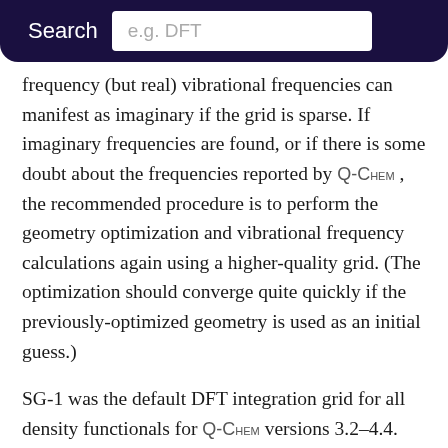Search  e.g. DFT
frequency (but real) vibrational frequencies can manifest as imaginary if the grid is sparse. If imaginary frequencies are found, or if there is some doubt about the frequencies reported by Q-Chem, the recommended procedure is to perform the geometry optimization and vibrational frequency calculations again using a higher-quality grid. (The optimization should converge quite quickly if the previously-optimized geometry is used as an initial guess.)

SG-1 was the default DFT integration grid for all density functionals for Q-Chem versions 3.2–4.4. Beginning with Q-Chem v. 4.4.2, however, the default grid is functional-dependent, as summarized in Table 5.3. This is a reflection of the fact that although